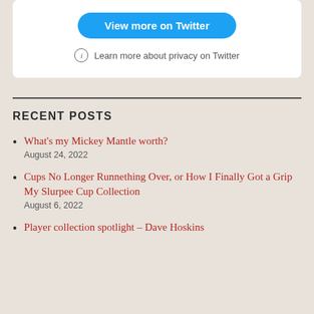[Figure (screenshot): Twitter embed card with 'View more on Twitter' blue button and 'Learn more about privacy on Twitter' link with info icon]
RECENT POSTS
What's my Mickey Mantle worth?
August 24, 2022
Cups No Longer Runnething Over, or How I Finally Got a Grip My Slurpee Cup Collection
August 6, 2022
Player collection spotlight – Dave Hoskins